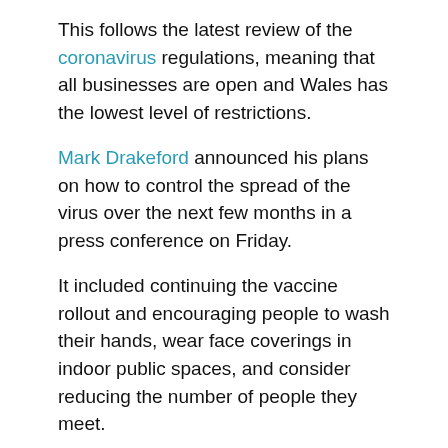This follows the latest review of the coronavirus regulations, meaning that all businesses are open and Wales has the lowest level of restrictions.
Mark Drakeford announced his plans on how to control the spread of the virus over the next few months in a press conference on Friday.
It included continuing the vaccine rollout and encouraging people to wash their hands, wear face coverings in indoor public spaces, and consider reducing the number of people they meet.
The First Minister said: "There will be no substantial changes to the rules over the next three weeks beyond those already announced".
The biggest change will see the Covid Pass become a legal requirement from Monday. Those attending nightclubs or large events will have to provide the pass to show they are double vaccinated or have proof of a